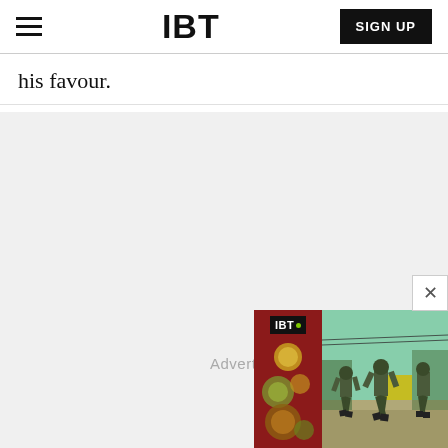IBT | SIGN UP
his favour.
[Figure (screenshot): Advertisement popup showing IBT logo on dark red background with decorative circles on the left panel, and a photo of soldiers walking outdoors on the right panel. A close (X) button appears at the top right. An 'Advertise' label is shown in gray text.]